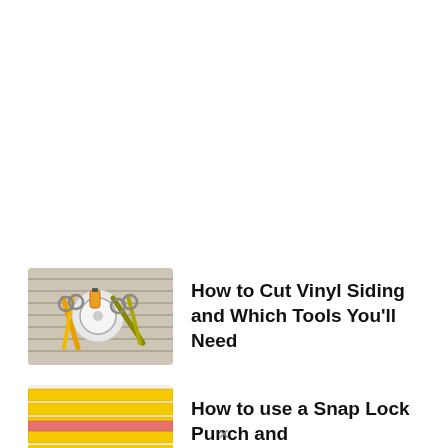[Figure (photo): Thumbnail image of vinyl siding cutting tools including a rotary cutter, circular saw, and pruning shears arranged on horizontal vinyl siding panels]
How to Cut Vinyl Siding and Which Tools You'll Need
[Figure (photo): Thumbnail image of yellow pencils and a pink pencil arranged in parallel on a surface]
How to use a Snap Lock Punch and